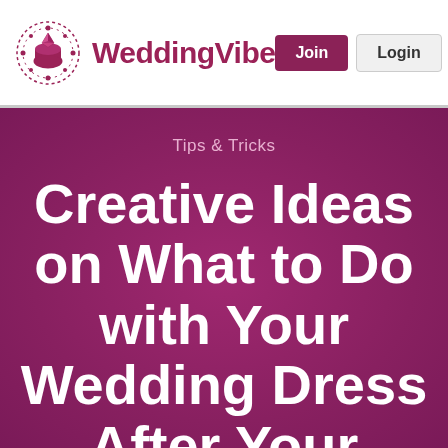WeddingVibe — Join | Login
Tips & Tricks
Creative Ideas on What to Do with Your Wedding Dress After Your